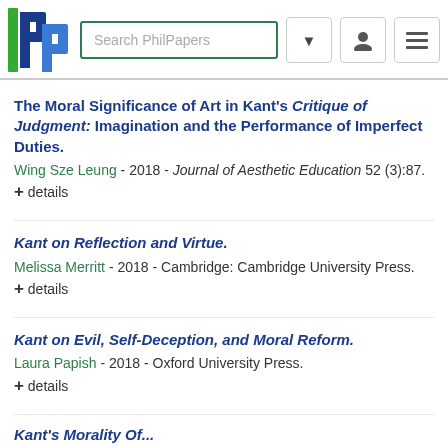[Figure (logo): PhilPapers logo with search bar and navigation icons]
The Moral Significance of Art in Kant's Critique of Judgment: Imagination and the Performance of Imperfect Duties.
Wing Sze Leung - 2018 - Journal of Aesthetic Education 52 (3):87.
+ details
Kant on Reflection and Virtue.
Melissa Merritt - 2018 - Cambridge: Cambridge University Press.
+ details
Kant on Evil, Self-Deception, and Moral Reform.
Laura Papish - 2018 - Oxford University Press.
+ details
Kant's Morality Of...